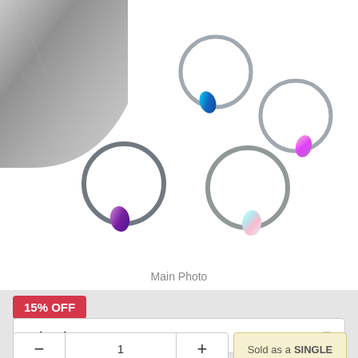[Figure (photo): Four silver captive bead rings with opal beads in different colors (blue, pink, purple, white/rainbow) displayed on a white and gray stone background]
Main Photo
15% OFF
Select item:
1
Sold as a SINGLE